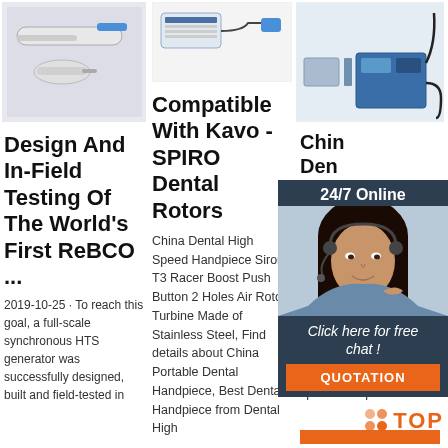[Figure (photo): Dental handpiece tools on light purple/grey background - a handpiece and attachment]
Design And In-Field Testing Of The World's First ReBCO ...
2019-10-25 · To reach this goal, a full-scale synchronous HTS generator was successfully designed, built and field-tested in
[Figure (photo): Dental handpiece product with specifications table on white background]
Compatible With Kavo - SPIRO Dental Rotors
China Dental High Speed Handpiece Sirona T3 Racer Boost Push Button 2 Holes Air Rotor Turbine Made of Stainless Steel, Find details about China Portable Dental Handpiece, Best Dental Handpiece from Dental High
[Figure (photo): Dental micromotor / handpiece unit with controller box on grey background]
China Dental High Speed Handpiece Sirona T3 Racer Boos
Fit Big Torque Push Button Head Ruixin RXGD fiber optic high speed handpiece.
[Figure (photo): 24/7 Online chat widget with customer service representative photo]
Click here for free chat !
QUOTATION